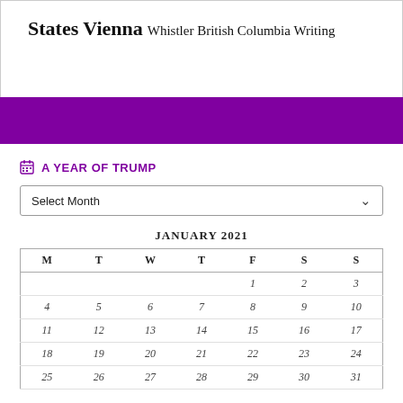States Vienna Whistler British Columbia Writing
A YEAR OF TRUMP
Select Month
| M | T | W | T | F | S | S |
| --- | --- | --- | --- | --- | --- | --- |
|  |  |  |  | 1 | 2 | 3 |
| 4 | 5 | 6 | 7 | 8 | 9 | 10 |
| 11 | 12 | 13 | 14 | 15 | 16 | 17 |
| 18 | 19 | 20 | 21 | 22 | 23 | 24 |
| 25 | 26 | 27 | 28 | 29 | 30 | 31 |